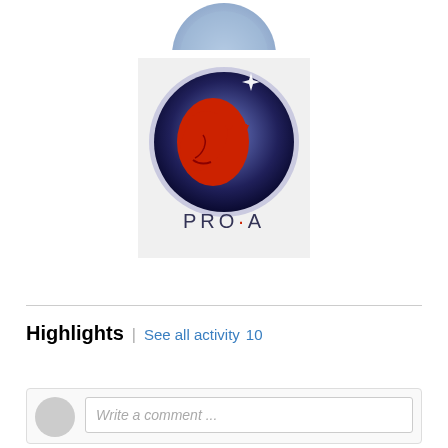[Figure (logo): Partial top of a circular logo with blue and teal colors, cropped at the top of the page]
[Figure (logo): PRO·A logo: a circular dark navy blue badge containing a red stylized face/profile silhouette on the left and a red balance scale on the right, with a white star highlight at top, and the text PRO·A in dark gray below the circle, on a light gray/white square background]
Highlights / See all activity 10
Write a comment...